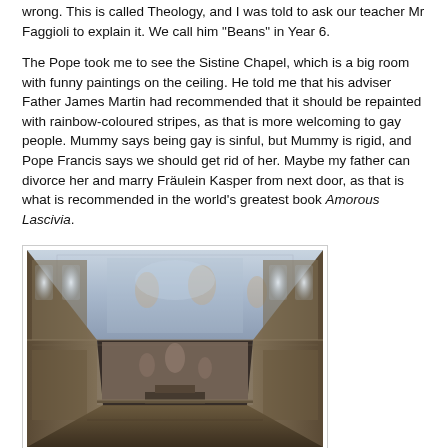wrong. This is called Theology, and I was told to ask our teacher Mr Faggioli to explain it. We call him "Beans" in Year 6.
The Pope took me to see the Sistine Chapel, which is a big room with funny paintings on the ceiling. He told me that his adviser Father James Martin had recommended that it should be repainted with rainbow-coloured stripes, as that is more welcoming to gay people. Mummy says being gay is sinful, but Mummy is rigid, and Pope Francis says we should get rid of her. Maybe my father can divorce her and marry Fräulein Kasper from next door, as that is what is recommended in the world's greatest book Amorous Lascivia.
[Figure (photo): Interior photograph of the Sistine Chapel showing the famous painted ceiling and walls, with the altar visible at the far end and ornate frescoes on all surfaces.]